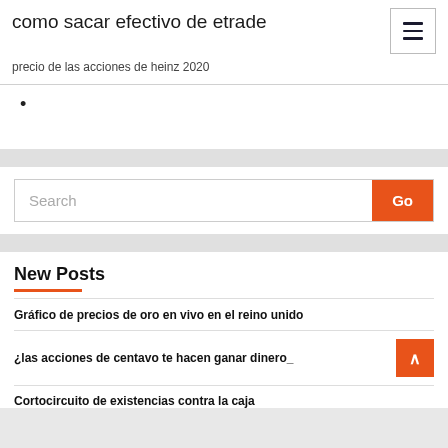como sacar efectivo de etrade
precio de las acciones de heinz 2020
•
Search
New Posts
Gráfico de precios de oro en vivo en el reino unido
¿las acciones de centavo te hacen ganar dinero_
Cortocircuito de existencias contra la caja